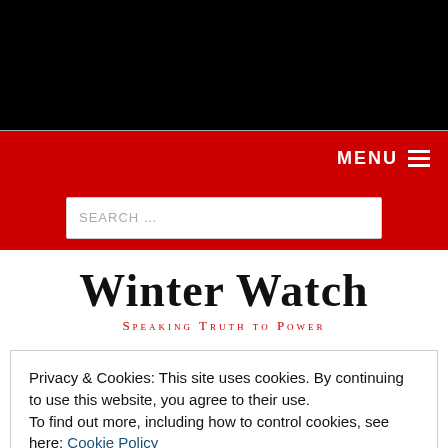[Figure (screenshot): Black top bar of website]
MENU ☰
[Figure (screenshot): Search bar on red background with placeholder text SEARCH …]
Winter Watch
Speaking Truth to Power
Privacy & Cookies: This site uses cookies. By continuing to use this website, you agree to their use.
To find out more, including how to control cookies, see here: Cookie Policy
Close and accept